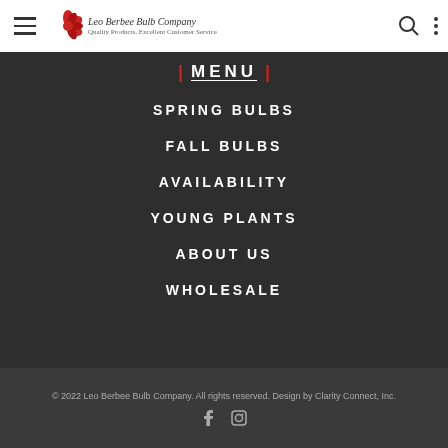Leo Berbee Bulb Company - Navigation header with hamburger menu, logo, search icon, and more options
MENU
SPRING BULBS
FALL BULBS
AVAILABILITY
YOUNG PLANTS
ABOUT US
WHOLESALE
© 2022 Leo Berbee Bulb Company.  All rights reserved. Design by Clarity Connect, Inc.